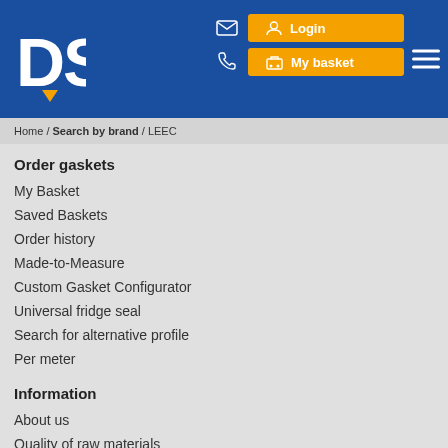DSU logo, Login, My basket, hamburger menu
Home / Search by brand / LEEC
Order gaskets
My Basket
Saved Baskets
Order history
Made-to-Measure
Custom Gasket Configurator
Universal fridge seal
Search for alternative profile
Per meter
Information
About us
Quality of raw materials
Fridge seal quality
Contact
Download catalog
Download forms